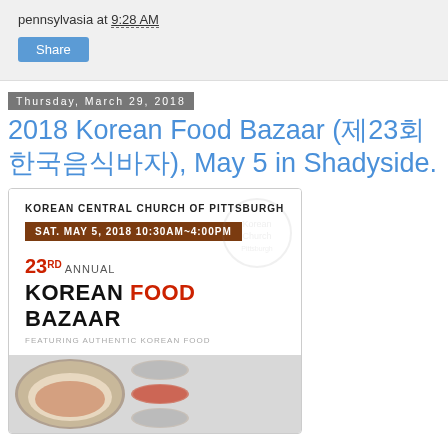pennsylvasia at 9:28 AM
Share
Thursday, March 29, 2018
2018 Korean Food Bazaar (제23회 한국음식바자), May 5 in Shadyside.
[Figure (photo): Event flyer for the 23rd Annual Korean Food Bazaar hosted by Korean Central Church of Pittsburgh. Date: SAT. MAY 5, 2018 10:30AM~4:00PM. Text reads: 23RD ANNUAL KOREAN FOOD BAZAAR FEATURING AUTHENTIC KOREAN FOOD. Bottom portion shows food photography including a bowl of Korean food and small dish thumbnails.]